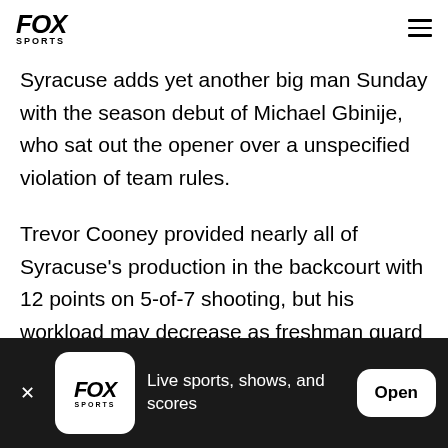FOX SPORTS
Syracuse adds yet another big man Sunday with the season debut of Michael Gbinije, who sat out the opener over a unspecified violation of team rules.
Trevor Cooney provided nearly all of Syracuse's production in the backcourt with 12 points on 5-of-7 shooting, but his workload may decrease as freshman guard Kaleb Joseph continues to improve.
Joseph played well in Syracuse's exhibition games,
FOX SPORTS — Live sports, shows, and scores — Open